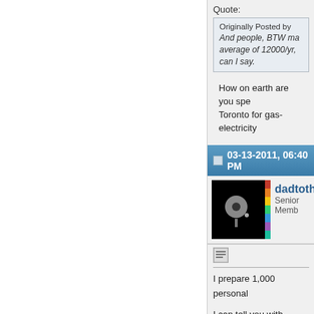Quote:
Originally Posted by
And people, BTW ma... average of 12000/yr,... can I say.
How on earth are you spe... Toronto for gas-electricity...
03-13-2011, 06:40 PM
[Figure (photo): User avatar: dark background with a floppy disk graphic and colorful stripe on right side]
dadtoth
Senior Memb...
I prepare 1,000 personal
I can tell you with certaint... depending on how energy...
I also spend $4,000 a yea...
So I am at $8,000 for my...